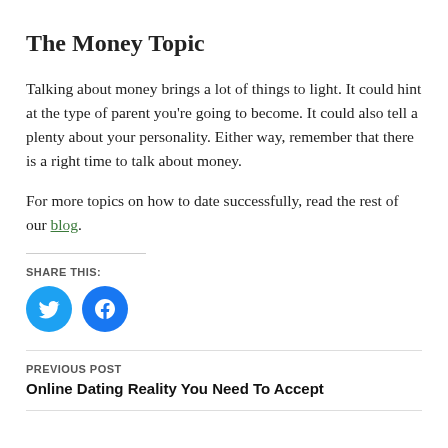The Money Topic
Talking about money brings a lot of things to light. It could hint at the type of parent you're going to become. It could also tell a plenty about your personality. Either way, remember that there is a right time to talk about money.
For more topics on how to date successfully, read the rest of our blog.
SHARE THIS:
[Figure (other): Twitter and Facebook share icon buttons (blue circles with white icons)]
PREVIOUS POST
Online Dating Reality You Need To Accept